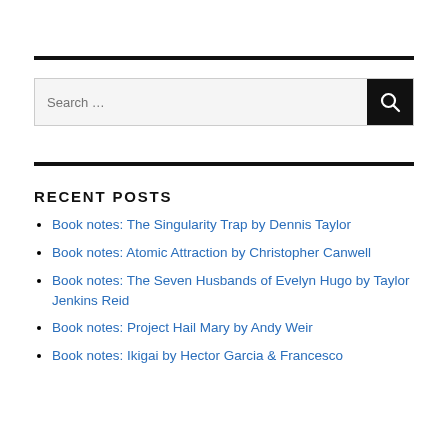[Figure (other): Search bar with text input field and black search button with magnifying glass icon]
RECENT POSTS
Book notes: The Singularity Trap by Dennis Taylor
Book notes: Atomic Attraction by Christopher Canwell
Book notes: The Seven Husbands of Evelyn Hugo by Taylor Jenkins Reid
Book notes: Project Hail Mary by Andy Weir
Book notes: Ikigai by Hector Garcia & Francesco